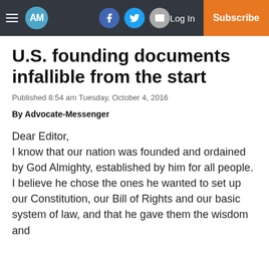AM | Log In | Subscribe
U.S. founding documents infallible from the start
Published 8:54 am Tuesday, October 4, 2016
By Advocate-Messenger
Dear Editor,
I know that our nation was founded and ordained by God Almighty, established by him for all people. I believe he chose the ones he wanted to set up our Constitution, our Bill of Rights and our basic system of law, and that he gave them the wisdom and